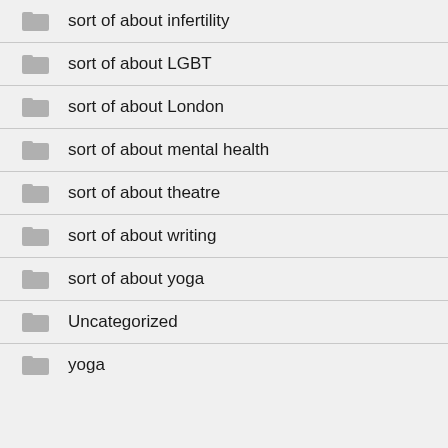sort of about infertility
sort of about LGBT
sort of about London
sort of about mental health
sort of about theatre
sort of about writing
sort of about yoga
Uncategorized
yoga